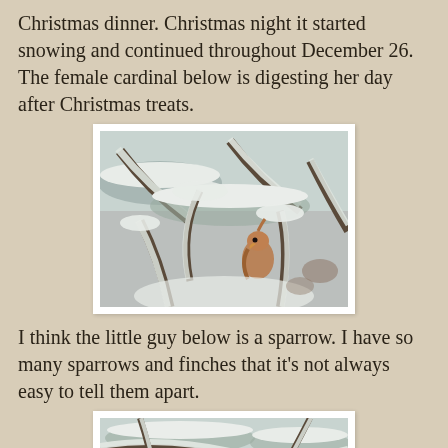Christmas dinner. Christmas night it started snowing and continued throughout December 26. The female cardinal below is digesting her day after Christmas treats.
[Figure (photo): A female cardinal bird perched among snow-covered branches. The branches are heavily laden with snow. The bird is partially visible, showing its warm brownish-orange coloring, nestled among the snow-covered twigs.]
I think the little guy below is a sparrow. I have so many sparrows and finches that it's not always easy to tell them apart.
[Figure (photo): A small sparrow bird visible among snow-covered branches, partially cropped at the bottom of the page.]